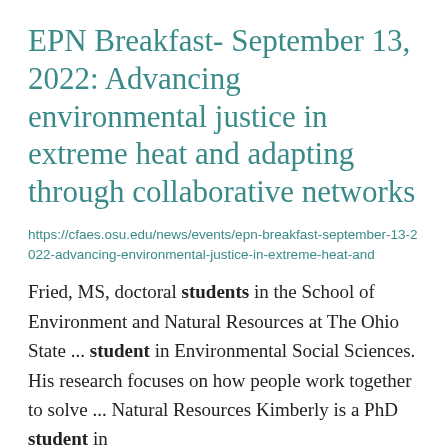EPN Breakfast- September 13, 2022: Advancing environmental justice in extreme heat and adapting through collaborative networks
https://cfaes.osu.edu/news/events/epn-breakfast-september-13-2022-advancing-environmental-justice-in-extreme-heat-and
Fried, MS, doctoral students in the School of Environment and Natural Resources at The Ohio State ... student in Environmental Social Sciences. His research focuses on how people work together to solve ... Natural Resources Kimberly is a PhD student in